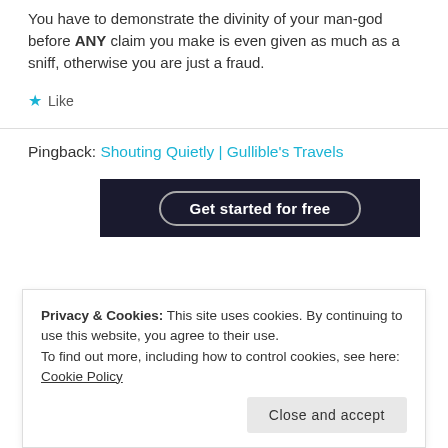You have to demonstrate the divinity of your man-god before ANY claim you make is even given as much as a sniff, otherwise you are just a fraud.
★ Like
Pingback: Shouting Quietly | Gullible's Travels
[Figure (other): Dark banner with a rounded button labeled 'Get started for free']
Privacy & Cookies: This site uses cookies. By continuing to use this website, you agree to their use. To find out more, including how to control cookies, see here: Cookie Policy
Close and accept